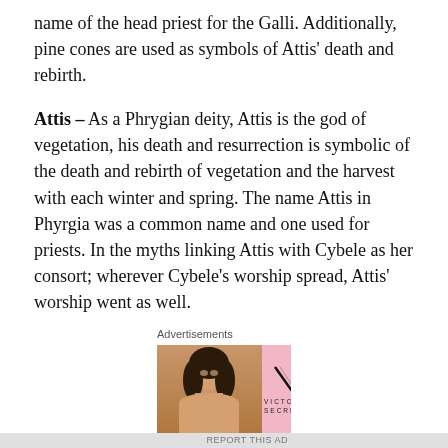name of the head priest for the Galli. Additionally, pine cones are used as symbols of Attis' death and rebirth.
Attis – As a Phrygian deity, Attis is the god of vegetation, his death and resurrection is symbolic of the death and rebirth of vegetation and the harvest with each winter and spring. The name Attis in Phyrgia was a common name and one used for priests. In the myths linking Attis with Cybele as her consort; wherever Cybele's worship spread, Attis' worship went as well.
Imagery portraying Attis has been found at a number of Greek sites. Whenever Attis is shown with Cybele, he is shown as a younger, lesser deity to her. He is possibly
[Figure (photo): Victoria's Secret advertisement banner with model photo, VS logo, 'SHOP THE COLLECTION' text, and 'SHOP NOW' button.]